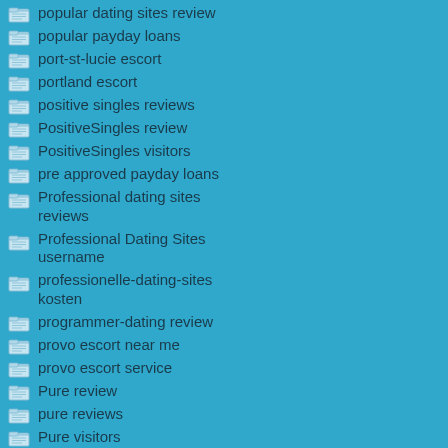popular dating sites review
popular payday loans
port-st-lucie escort
portland escort
positive singles reviews
PositiveSingles review
PositiveSingles visitors
pre approved payday loans
Professional dating sites reviews
Professional Dating Sites username
professionelle-dating-sites kosten
programmer-dating review
provo escort near me
provo escort service
Pure review
pure reviews
Pure visitors
PussySaga visitors
quick cash payday loans
quick cash title loans
quick easy pay day loan